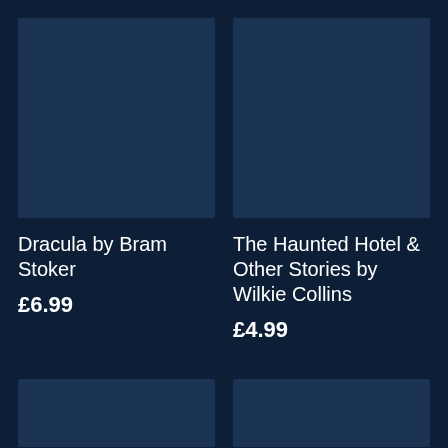[Figure (illustration): Book cover placeholder for Dracula by Bram Stoker — dark navy blue rectangle]
[Figure (illustration): Book cover placeholder for The Haunted Hotel & Other Stories by Wilkie Collins — dark navy blue rectangle]
Dracula by Bram Stoker
£6.99
The Haunted Hotel & Other Stories by Wilkie Collins
£4.99
[Figure (illustration): Book cover placeholder bottom left — dark navy blue rectangle]
[Figure (illustration): Book cover placeholder bottom right — dark navy blue rectangle]